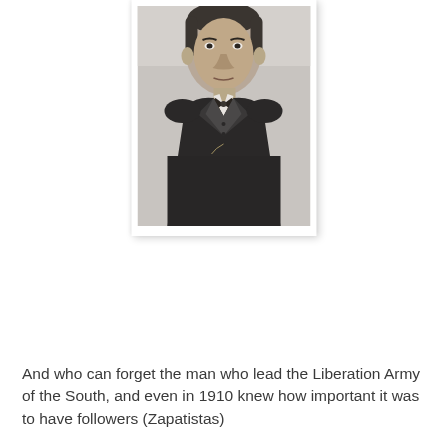[Figure (photo): Black and white portrait photograph of a man in a dark suit with a bow tie, formal attire, historical era]
And who can forget the man who lead the Liberation Army of the South, and even in 1910 knew how important it was to have followers (Zapatistas)